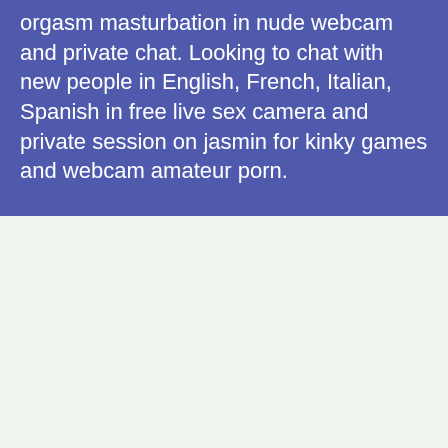orgasm masturbation in nude webcam and private chat. Looking to chat with new people in English, French, Italian, Spanish in free live sex camera and private session on jasmin for kinky games and webcam amateur porn.